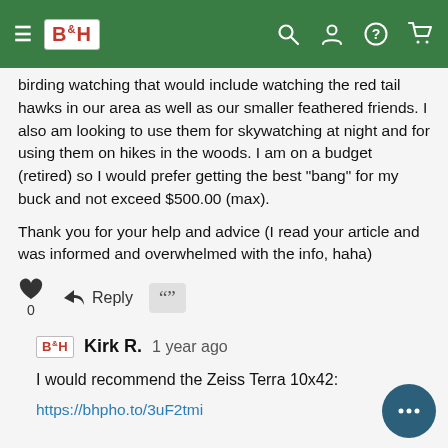B&H navigation bar
birding watching that would include watching the red tail hawks in our area as well as our smaller feathered friends. I also am looking to use them for skywatching at night and for using them on hikes in the woods. I am on a budget (retired) so I would prefer getting the best "bang" for my buck and not exceed $500.00 (max).
Thank you for your help and advice (I read your article and was informed and overwhelmed with the info, haha)
Kirk R.  1 year ago
I would recommend the Zeiss Terra 10x42:
https://bhpho.to/3uF2tmi